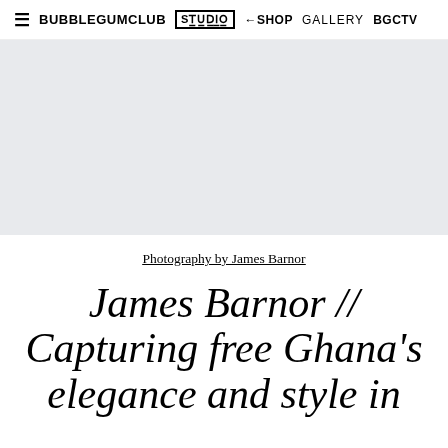≡ BUBBLEGUMCLUB STUDIO SHOP GALLERY BGCTV
[Figure (photo): Large light grey placeholder image area for a photograph]
Photography by James Barnor
James Barnor // Capturing free Ghana's elegance and style in